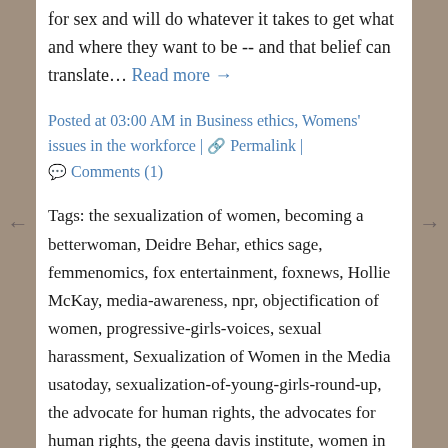for sex and will do whatever it takes to get what and where they want to be -- and that belief can translate… Read more →
Posted at 03:00 AM in Business ethics, Womens' issues in the workforce | 🔗 Permalink | 💬 Comments (1)
Tags: the sexualization of women, becoming a betterwoman, Deidre Behar, ethics sage, femmenomics, fox entertainment, foxnews, Hollie McKay, media-awareness, npr, objectification of women, progressive-girls-voices, sexual harassment, Sexualization of Women in the Media usatoday, sexualization-of-young-girls-round-up, the advocate for human rights, the advocates for human rights, the geena davis institute, women in the workplace, women issues in the workplace, womenandthelaw, womenatworknetwork, womensmediacenter,